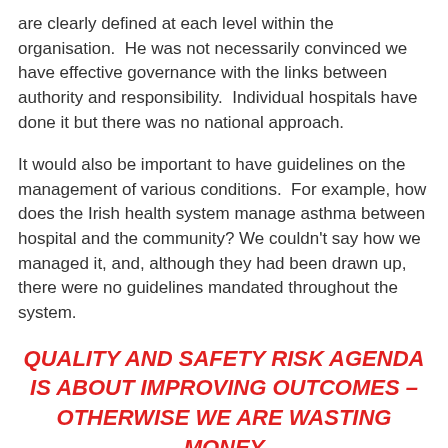are clearly defined at each level within the organisation.  He was not necessarily convinced we have effective governance with the links between authority and responsibility.  Individual hospitals have done it but there was no national approach.
It would also be important to have guidelines on the management of various conditions.  For example, how does the Irish health system manage asthma between hospital and the community? We couldn't say how we managed it, and, although they had been drawn up, there were no guidelines mandated throughout the system.
QUALITY AND SAFETY RISK AGENDA IS ABOUT IMPROVING OUTCOMES – OTHERWISE WE ARE WASTING MONEY
In introducing guidelines he said we should look first at areas